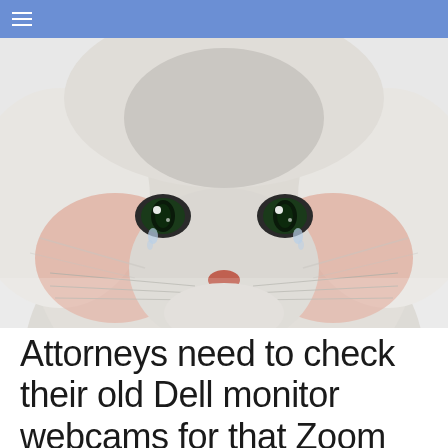≡
[Figure (photo): Close-up photo of a sad-looking kitten with teary green eyes, fluffy white/grey fur, pink cheeks and a small pink nose, facing forward]
Attorneys need to check their old Dell monitor webcams for that Zoom kitten filter software